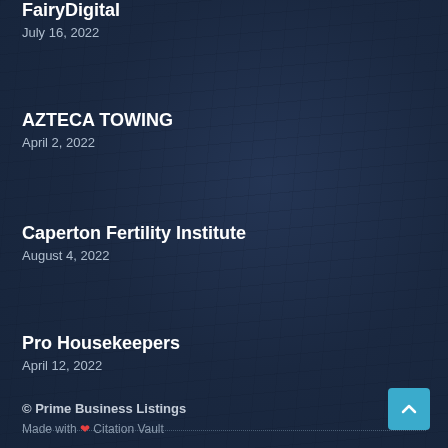FairyDigital
July 16, 2022
AZTECA TOWING
April 2, 2022
Caperton Fertility Institute
August 4, 2022
Pro Housekeepers
April 12, 2022
© Prime Business Listings
Made with ❤ Citation Vault